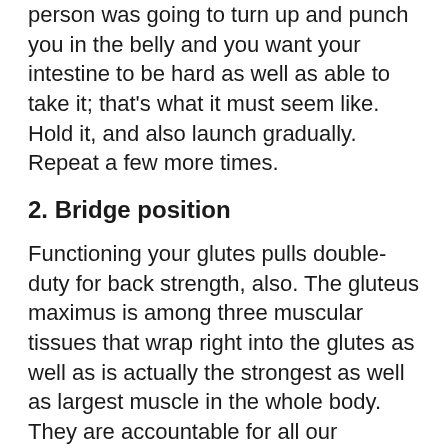person was going to turn up and punch you in the belly and you want your intestine to be hard as well as able to take it; that's what it must seem like. Hold it, and also launch gradually. Repeat a few more times.
2. Bridge position
Functioning your glutes pulls double-duty for back strength, also. The gluteus maximus is among three muscular tissues that wrap right into the glutes as well as is actually the strongest as well as largest muscle in the whole body. They are accountable for all our movement, which is why strengthening them truly helps your lower back.
3. Donkey kicks